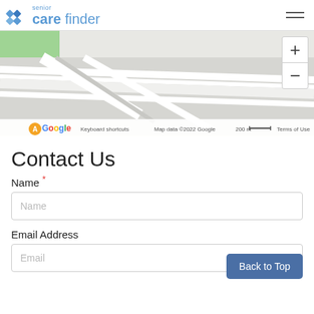senior care finder
[Figure (map): Google Maps view showing road/highway area. Map data ©2022 Google. Scale: 200 m. Keyboard shortcuts. Terms of Use. Zoom in/out controls visible on right.]
Contact Us
Name *
Name (placeholder)
Email Address
Email (placeholder)
Back to Top